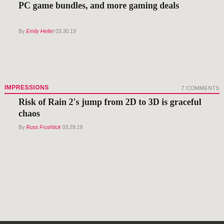PC game bundles, and more gaming deals
By Emily Heller 03.30.19
IMPRESSIONS
7 COMMENTS
Risk of Rain 2's jump from 2D to 3D is graceful chaos
By Russ Frushtick 03.29.19